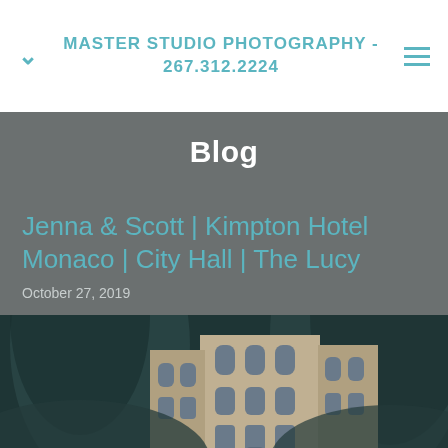MASTER STUDIO PHOTOGRAPHY - 267.312.2224
Blog
Jenna & Scott | Kimpton Hotel Monaco | City Hall | The Lucy
October 27, 2019
[Figure (photo): Wedding photo taken through archways showing City Hall building exterior with gothic architecture, blurred foreground elements framing the scene]